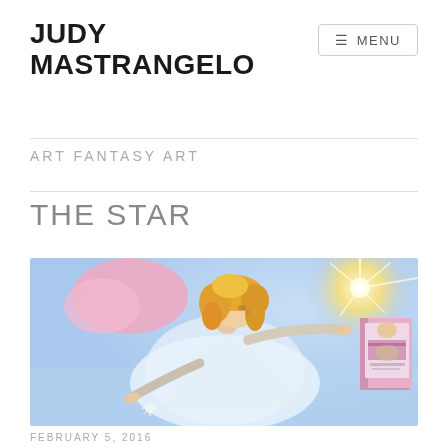JUDY MASTRANGELO
ART FANTASY ART
THE STAR
[Figure (illustration): Fantasy illustration of a young blonde girl in a white flowing gown reaching out toward a bright glowing star with rays of light, floating in a blue sky with pink clouds. A book with a pink curtain cover is shown in the upper right corner.]
FEBRUARY 5, 2016